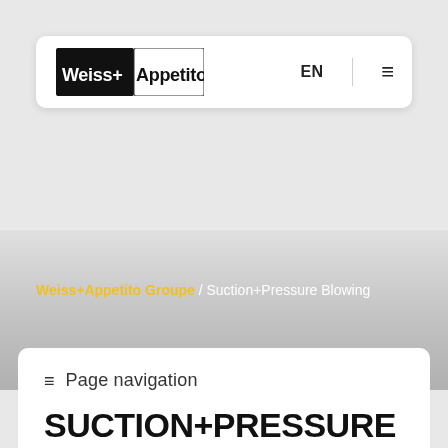[Figure (logo): Weiss+Appetito logo with EN language selector and hamburger menu in a white navigation bar]
Weiss+Appetito Groupe / Suction+Pressure Blowing
≡  Page navigation
SUCTION+PRESSURE BLOWING